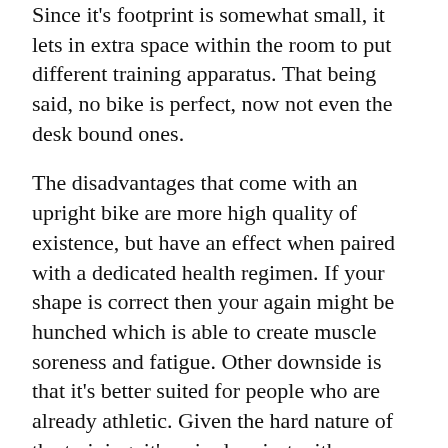Since it's footprint is somewhat small, it lets in extra space within the room to put different training apparatus. That being said, no bike is perfect, now not even the desk bound ones.
The disadvantages that come with an upright bike are more high quality of existence, but have an effect when paired with a dedicated health regimen. If your shape is correct then your again might be hunched which is able to create muscle soreness and fatigue. Other downside is that it's better suited for people who are already athletic. Given the hard nature of the training, it's paired easiest with any individual who works out continuously however wants to make use of the bike for at home health.
Recumbent Exercise Bikes